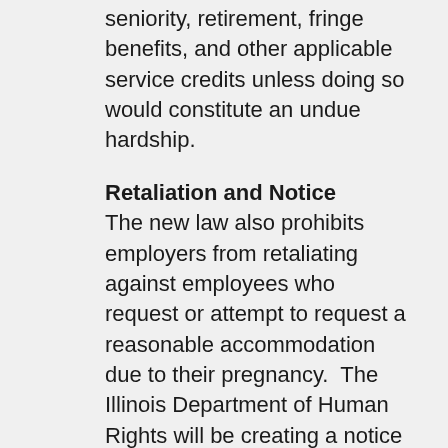seniority, retirement, fringe benefits, and other applicable service credits unless doing so would constitute an undue hardship.
Retaliation and Notice
The new law also prohibits employers from retaliating against employees who request or attempt to request a reasonable accommodation due to their pregnancy.  The Illinois Department of Human Rights will be creating a notice which employers will be required to post in the workplace.
What does this mean for you?
The new Illinois law is a